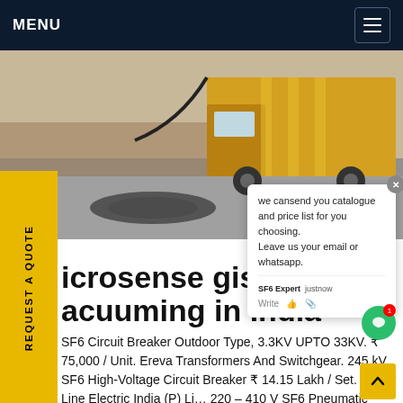MENU
[Figure (photo): Outdoor photo of a yellow truck/vehicle on a construction or substation site with cables and ground visible. Chat popup overlay visible on top.]
microsense gis sf6 vacuuming in India
SF6 Circuit Breaker Outdoor Type, 3.3KV UPTO 33KV. ₹ 75,000 / Unit. Ereva Transformers And Switchgear. 245 kV SF6 High-Voltage Circuit Breaker ₹ 14.15 Lakh / Set. Power Line Electric India (P) Li... 220 – 410 V SF6 Pneumatic Circuit Breaker, High-